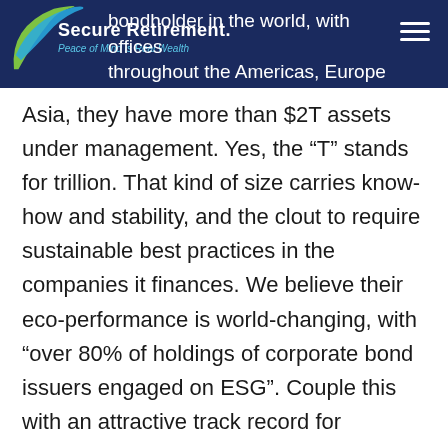Secure Retirement. Peace of Mind is Real Wealth
bondholder in the world, with offices throughout the Americas, Europe and Asia, they have more than $2T assets under management. Yes, the “T” stands for trillion. That kind of size carries know-how and stability, and the clout to require sustainable best practices in the companies it finances. We believe their eco-performance is world-changing, with “over 80% of holdings of corporate bond issuers engaged on ESG”. Couple this with an attractive track record for